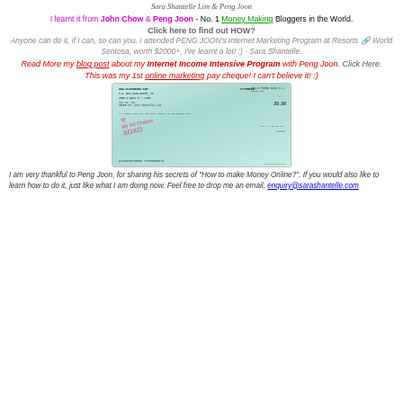Sara Shantelle Lim & Peng Joon
I learnt it from John Chow & Peng Joon - No. 1 Money Making Bloggers in the World.
Click here to find out HOW?
Anyone can do it, if I can, so can you. I attended PENG JOON's Internet Marketing Program at Resorts 🔗 World Sentosa, worth $2000+, I've learnt a lot! :) - Sara Shantelle.
Read More my blog post about my Internet Income Intensive Program with Peng Joon. Click Here. This was my 1st online marketing pay cheque! I can't believe it! :)
[Figure (photo): A photograph of a cheque from Clickbank with 'My 1st Cheque XOXO' watermark overlaid on it]
I am very thankful to Peng Joon, for sharing his secrets of "How to make Money Online?". If you would also like to learn how to do it, just like what I am doing now. Feel free to drop me an email, enquiry@sarashantelle.com